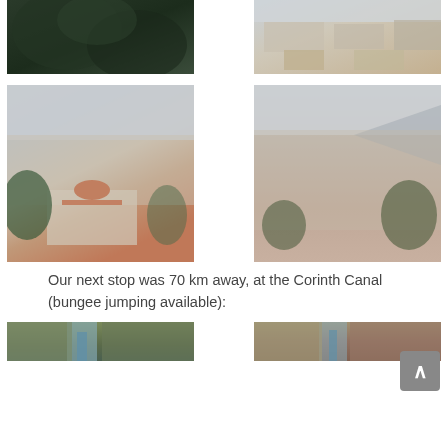[Figure (photo): Dark green forested hillside view from above]
[Figure (photo): Aerial view of Greek city with buildings and rooftops]
[Figure (photo): Panoramic view of Athens with domed church in foreground and mountains in background]
[Figure (photo): Dense urban cityscape of Athens with mountains and hills in background]
Our next stop was 70 km away, at the Corinth Canal (bungee jumping available):
[Figure (photo): Corinth Canal narrow waterway with steep rocky walls, view from above]
[Figure (photo): Corinth Canal with steep rocky cliffs on both sides]